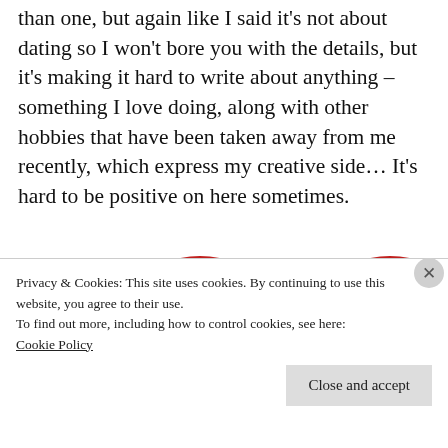than one, but again like I said it's not about dating so I won't bore you with the details, but it's making it hard to write about anything – something I love doing, along with other hobbies that have been taken away from me recently, which express my creative side… It's hard to be positive on here sometimes.
[Figure (illustration): Two large red circles with dark navy quotation marks visible, partially cropped at the bottom of the page]
Privacy & Cookies: This site uses cookies. By continuing to use this website, you agree to their use.
To find out more, including how to control cookies, see here:
Cookie Policy
Close and accept